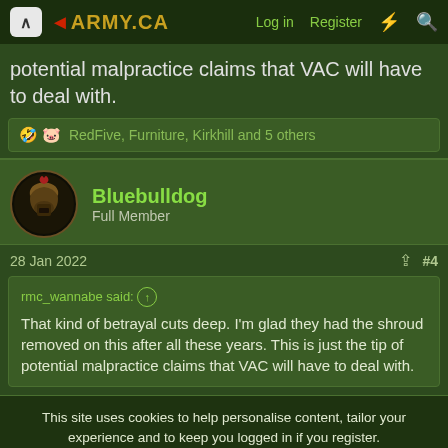ARMY.CA — Log in | Register
potential malpractice claims that VAC will have to deal with.
🤣 🐷 RedFive, Furniture, Kirkhill and 5 others
Bluebulldog
Full Member
28 Jan 2022  #4
rmc_wannabe said: ↑
That kind of betrayal cuts deep. I'm glad they had the shroud removed on this after all these years. This is just the tip of potential malpractice claims that VAC will have to deal with.
This site uses cookies to help personalise content, tailor your experience and to keep you logged in if you register.
By continuing to use this site, you are consenting to our use of cookies.
Accept  Learn more...